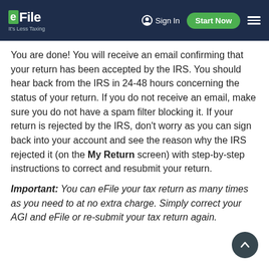eFile It's Less Taxing | Sign In | Start Now
You are done! You will receive an email confirming that your return has been accepted by the IRS. You should hear back from the IRS in 24-48 hours concerning the status of your return. If you do not receive an email, make sure you do not have a spam filter blocking it. If your return is rejected by the IRS, don't worry as you can sign back into your account and see the reason why the IRS rejected it (on the My Return screen) with step-by-step instructions to correct and resubmit your return.
Important: You can eFile your tax return as many times as you need to at no extra charge. Simply correct your AGI and eFile or re-submit your tax return again.